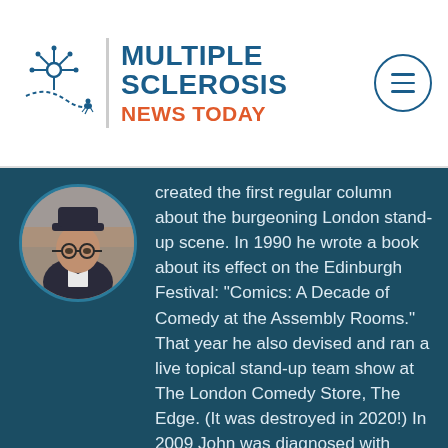MULTIPLE SCLEROSIS NEWS TODAY
[Figure (photo): Circular avatar photo of a man wearing a hat and glasses]
created the first regular column about the burgeoning London stand-up scene. In 1990 he wrote a book about its effect on the Edinburgh Festival: “Comics: A Decade of Comedy at the Assembly Rooms.” That year he also devised and ran a live topical stand-up team show at The London Comedy Store, The Edge. (It was destroyed in 2020!) In 2009 John was diagnosed with RRMS, which cut short his main job as a TV casting director for “Black Books,” “My Family,” et al. Now,